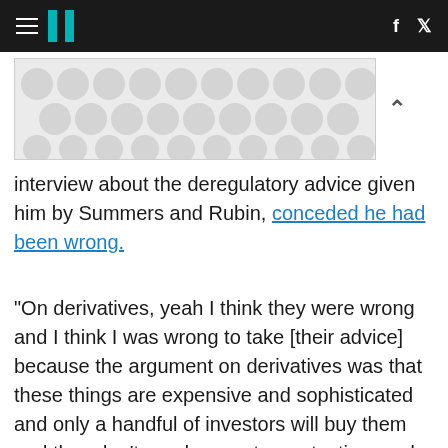HuffPost navigation with hamburger menu, logo, Facebook and Twitter icons
[Figure (other): Advertisement banner with grey polka dot / circle pattern on light background]
interview about the deregulatory advice given him by Summers and Rubin, conceded he had been wrong.
"On derivatives, yeah I think they were wrong and I think I was wrong to take [their advice] because the argument on derivatives was that these things are expensive and sophisticated and only a handful of investors will buy them and they don't need any extra protection, and any extra transparency," Clinton said.